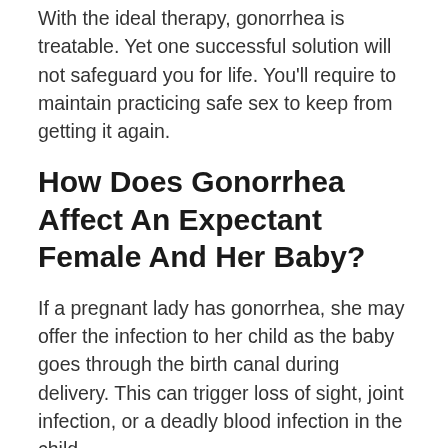With the ideal therapy, gonorrhea is treatable. Yet one successful solution will not safeguard you for life. You'll require to maintain practicing safe sex to keep from getting it again.
How Does Gonorrhea Affect An Expectant Female And Her Baby?
If a pregnant lady has gonorrhea, she may offer the infection to her child as the baby goes through the birth canal during delivery. This can trigger loss of sight, joint infection, or a deadly blood infection in the child.
Therapy of gonorrhea as quickly as it is detected in pregnant ladies will reduce the risk of these complications. Pregnant females must speak